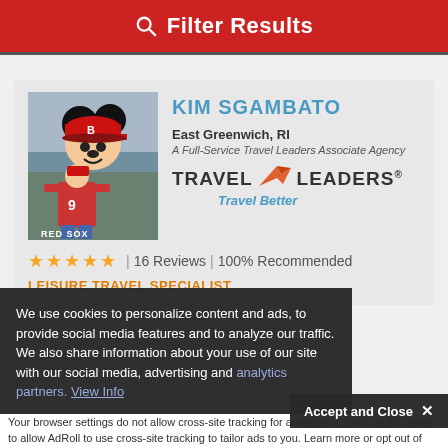Filter Results
KIM SGAMBATO
East Greenwich, RI
A Full-Service Travel Leaders Associate Agency
[Figure (logo): Travel Leaders logo with orange arrow and 'Travel Better' tagline]
[Figure (photo): Photo of woman posing with Mickey Mouse dressed in Red Sox baseball costume]
★★★★★ | 16 Reviews | 100% Recommended
LEISURE TRAVEL SPECIALIST
We use cookies to personalize content and ads, to provide social media features and to analyze our traffic. We also share information about your use of our site with our social media, advertising and analytics partners. View Info
Accept and Close ✕
Your browser settings do not allow cross-site tracking for advertising. Click on this page to allow AdRoll to use cross-site tracking to tailor ads to you. Learn more or opt out of this AdRoll tracking by clicking here. This message only appears once.